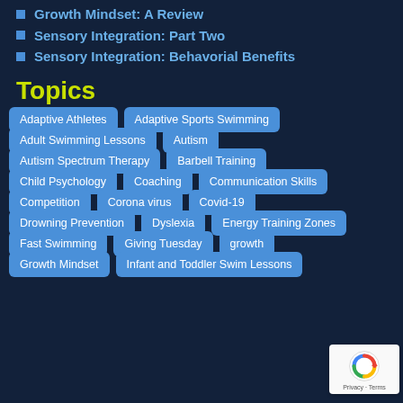Growth Mindset: A Review
Sensory Integration: Part Two
Sensory Integration: Behavorial Benefits
Topics
Adaptive Athletes | Adaptive Sports Swimming
Adult Swimming Lessons | Autism
Autism Spectrum Therapy | Barbell Training
Child Psychology | Coaching | Communication Skills
Competition | Corona virus | Covid-19
Drowning Prevention | Dyslexia | Energy Training Zones
Fast Swimming | Giving Tuesday | growth
Growth Mindset | Infant and Toddler Swim Lessons